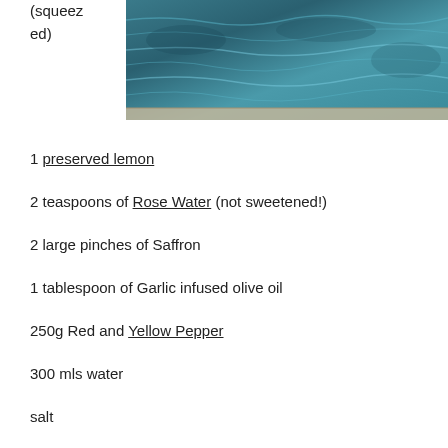(squeezed)
[Figure (photo): Photo of a pool or water surface with blue-green water and tiled edge]
1 preserved lemon
2 teaspoons of Rose Water (not sweetened!)
2 large pinches of Saffron
1 tablespoon of Garlic infused olive oil
250g Red and Yellow Pepper
300 mls water
salt